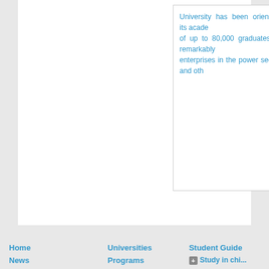University has been orienting its acade... of up to 80,000 graduates, a remarkably... enterprises in the power sector and oth...
Home
News
Testimonials
Agents
Universities
Programs
Online Admission
Student Guide
Study in ch...
Education i...
Plan your s...
How to app...
VISA Info
Travel Guid...
[Figure (logo): W3C XHTML 1.0 validation badge]
Copyright © 2022 StudyC...